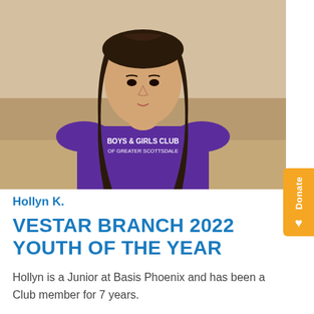[Figure (photo): A young woman with long dark hair wearing a purple Boys & Girls Club of Greater Scottsdale t-shirt, standing outdoors with a sandy/field background]
Hollyn K.
VESTAR BRANCH 2022 YOUTH OF THE YEAR
Hollyn is a Junior at Basis Phoenix and has been a Club member for 7 years.